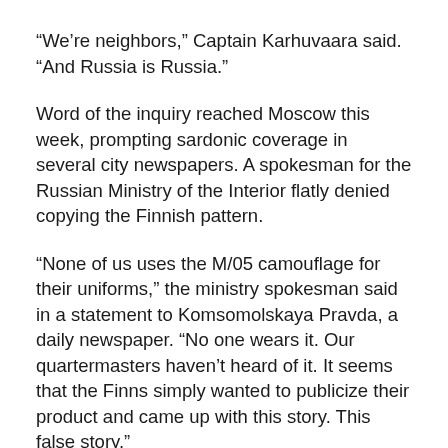“We’re neighbors,” Captain Karhuvaara said. “And Russia is Russia.”
Word of the inquiry reached Moscow this week, prompting sardonic coverage in several city newspapers. A spokesman for the Russian Ministry of the Interior flatly denied copying the Finnish pattern.
“None of us uses the M/05 camouflage for their uniforms,” the ministry spokesman said in a statement to Komsomolskaya Pravda, a daily newspaper. “No one wears it. Our quartermasters haven’t heard of it. It seems that the Finns simply wanted to publicize their product and came up with this story. This false story.”
Dmitri Y. Rybakov, whose company supplies the Russian Army, was displaying his products for government buyers on Wednesday at a Moscow exhibition hall. Young women stood around in camouflage halter tops and hot pants, and an acrobat